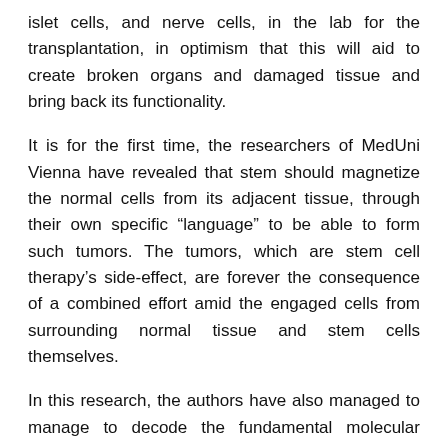islet cells, and nerve cells, in the lab for the transplantation, in optimism that this will aid to create broken organs and damaged tissue and bring back its functionality.
It is for the first time, the researchers of MedUni Vienna have revealed that stem should magnetize the normal cells from its adjacent tissue, through their own specific “language” to be able to form such tumors. The tumors, which are stem cell therapy’s side-effect, are forever the consequence of a combined effort amid the engaged cells from surrounding normal tissue and stem cells themselves.
In this research, the authors have also managed to manage to decode the fundamental molecular system.
Markus Hengstschlager, Chairman of the Institute of Medical Genetics said, “We were competent to exhibit that the growth of stem cell clusters comes only successfully with the normal